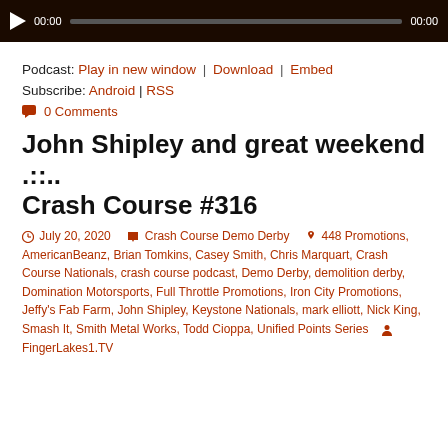[Figure (other): Audio player bar with play button, time display 00:00, progress bar, and end time 00:00 on dark background]
Podcast: Play in new window | Download | Embed
Subscribe: Android | RSS
0 Comments
John Shipley and great weekend .::.. Crash Course #316
July 20, 2020   Crash Course Demo Derby   448 Promotions, AmericanBeanz, Brian Tomkins, Casey Smith, Chris Marquart, Crash Course Nationals, crash course podcast, Demo Derby, demolition derby, Domination Motorsports, Full Throttle Promotions, Iron City Promotions, Jeffy's Fab Farm, John Shipley, Keystone Nationals, mark elliott, Nick King, Smash It, Smith Metal Works, Todd Cioppa, Unified Points Series   FingerLakes1.TV